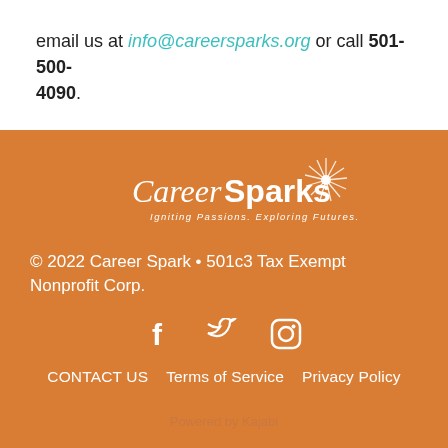email us at info@careersparks.org or call 501-500-4090.
[Figure (logo): Career Sparks logo with sunburst graphic and tagline 'Igniting Passions. Exploring Futures.']
© 2022 Career Spark • 501c3 Tax Exempt Nonprofit Corp.
[Figure (infographic): Social media icons: Facebook, Twitter, Instagram]
CONTACT US    Terms of Service    Privacy Policy
Powered by Kajabi